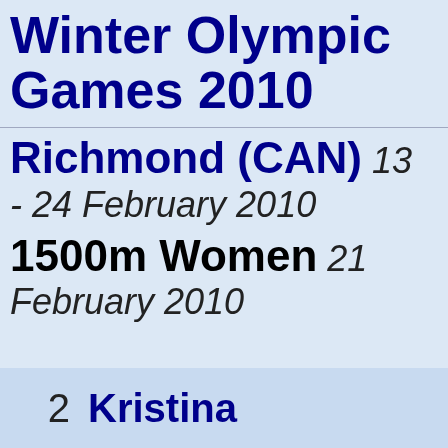Winter Olympic Games 2010
Richmond (CAN)  13 - 24 February 2010
1500m Women  21 February 2010
| Rank | Athlete | Country |
| --- | --- | --- |
| 1 | Ireen WÜST | L |
| 2 | Kristina |  |